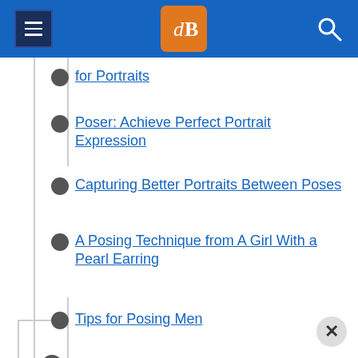dPS navigation header with hamburger menu, logo, and search icon
for Portraits
Poser: Achieve Perfect Portrait Expression
Capturing Better Portraits Between Poses
A Posing Technique from A Girl With a Pearl Earring
Tips for Posing Men
COMPOSITION
6 Types of Portrait Backgrounds for Creative Images
6 Tips for Perfect Composition in Portrait